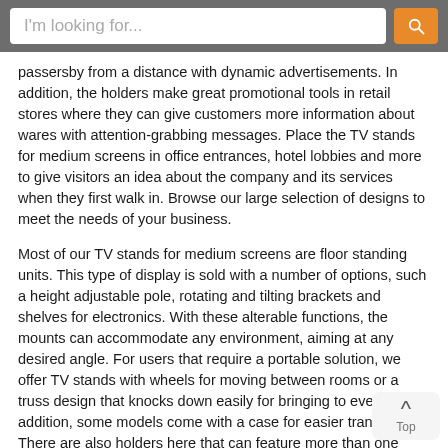I'm looking for...
passersby from a distance with dynamic advertisements. In addition, the holders make great promotional tools in retail stores where they can give customers more information about wares with attention-grabbing messages. Place the TV stands for medium screens in office entrances, hotel lobbies and more to give visitors an idea about the company and its services when they first walk in. Browse our large selection of designs to meet the needs of your business.
Most of our TV stands for medium screens are floor standing units. This type of display is sold with a number of options, such a height adjustable pole, rotating and tilting brackets and shelves for electronics. With these alterable functions, the mounts can accommodate any environment, aiming at any desired angle. For users that require a portable solution, we offer TV stands with wheels for moving between rooms or a truss design that knocks down easily for bringing to events. In addition, some models come with a case for easier transport. There are also holders here that can feature more than one screen for extra promotional space. For companies that require more floor space, we also offer wall and ceiling mounts. All units shown here are made of strong steel or aluminum to support heavy flat panels. In addition, all of these TV stands use VESA compatible brackets to hold displays.